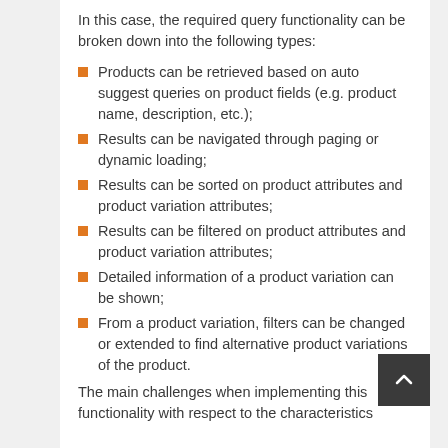In this case, the required query functionality can be broken down into the following types:
Products can be retrieved based on auto suggest queries on product fields (e.g. product name, description, etc.);
Results can be navigated through paging or dynamic loading;
Results can be sorted on product attributes and product variation attributes;
Results can be filtered on product attributes and product variation attributes;
Detailed information of a product variation can be shown;
From a product variation, filters can be changed or extended to find alternative product variations of the product.
The main challenges when implementing this functionality with respect to the characteristics